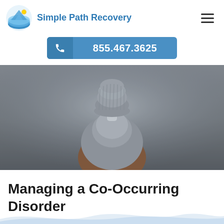Simple Path Recovery
855.467.3625
[Figure (photo): Person seen from behind wearing a grey knit beanie hat and grey hoodie with a brown jacket, standing against a foggy grey background]
Managing a Co-Occurring Disorder